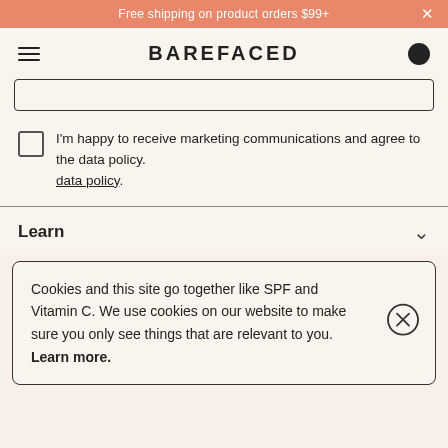Free shipping on product orders $99+
BAREFACED
I'm happy to receive marketing communications and agree to the data policy.
Learn
Cookies and this site go together like SPF and Vitamin C. We use cookies on our website to make sure you only see things that are relevant to you. Learn more.